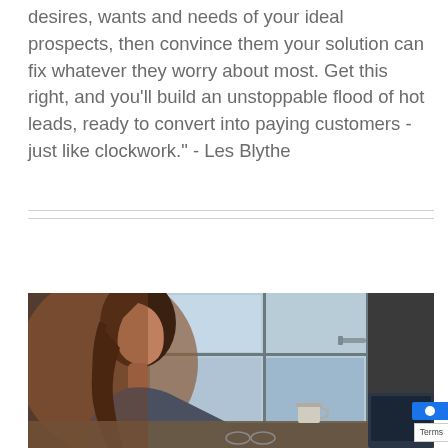desires, wants and needs of your ideal prospects, then convince them your solution can fix whatever they worry about most. Get this right, and you'll build an unstoppable flood of hot leads, ready to convert into paying customers - just like clockwork." - Les Blythe
[Figure (photo): Woman viewed from the side in silhouette against a bright window with a door handle visible, sitting at a desk with a coffee cup and laptop]